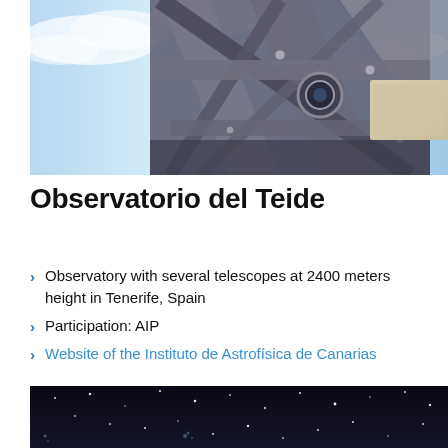[Figure (photo): Telescope structure photographed against a bright blue sky with clouds, showing metallic frame and dome components of the Observatorio del Teide]
Observatorio del Teide
Observatory with several telescopes at 2400 meters height in Tenerife, Spain
Participation: AIP
Website of the Instituto de Astrofísica de Canarias
[Figure (photo): Night sky photograph showing a starfield, dark blue-black background with scattered stars visible]